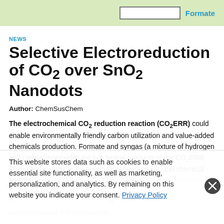[Figure (illustration): Light green banner at top showing a white box outline and the word 'Formate' in blue bold text to the right.]
NEWS
Selective Electroreduction of CO₂ over SnO₂ Nanodots
Author: ChemSusChem
The electrochemical CO₂ reduction reaction (CO₂ERR) could enable environmentally friendly carbon utilization and value-added chemicals production. Formate and syngas (a mixture of hydrogen and carbon monoxide) are two typical products of the CO₂ERR. They can be used as hydrogen storage materials and chemical feedstocks for the Fischer–Tropsch synthesis of hydrocarbons, respectively. The c... of electrochemical CO₂ conversion.
Jinlong Gong, Tianjin University, China, and colleagues have synthesized ultrasmall SnO₂ nanodots (NDs) homogeneously
This website stores data such as cookies to enable essential site functionality, as well as marketing, personalization, and analytics. By remaining on this website you indicate your consent. Privacy Policy